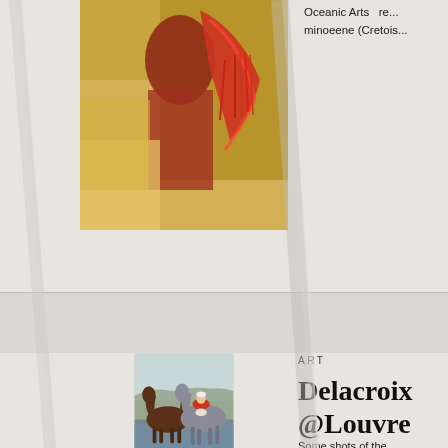[Figure (photo): Partial painting visible at top — figure in red with colorful background, warm ochre/gold tones, appearing to be a Delacroix painting.]
Oceanic Arts   re...
minoeene (Cretois...
[Figure (photo): Delacroix painting showing two figures on horseback — one brown horse and one grey horse in turbulent water with mountains in background. Rider in red outfit.]
ART
Delacroix @Louvre
Some shots of the
Mai 2018 Reunidn...
Felix Guillemarket...
aux enfers, 1822 S...
1824  La liberte g...
orpheline au cimet...
Autoportrait au gile...